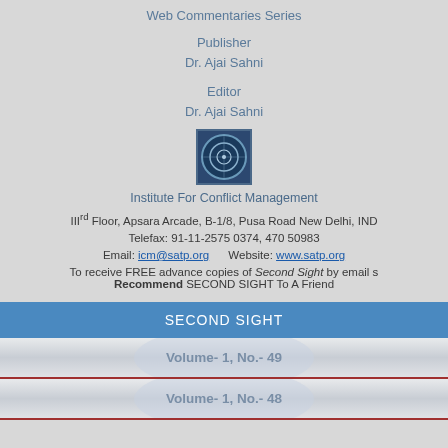Web Commentaries Series
Publisher
Dr. Ajai Sahni
Editor
Dr. Ajai Sahni
[Figure (logo): Institute For Conflict Management logo - circular blue emblem]
Institute For Conflict Management
III rd Floor, Apsara Arcade, B-1/8, Pusa Road New Delhi, IND
Telefax: 91-11-2575 0374, 470 50983
Email: icm@satp.org    Website: www.satp.org
To receive FREE advance copies of Second Sight by email s
Recommend SECOND SIGHT To A Friend
| SECOND SIGHT |
| --- |
| Volume- 1, No.- 49 |
| Volume- 1, No.- 48 |